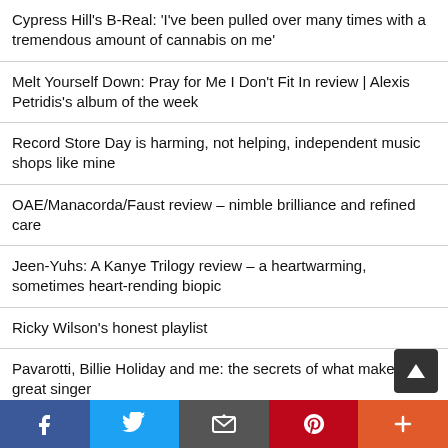Cypress Hill's B-Real: 'I've been pulled over many times with a tremendous amount of cannabis on me'
Melt Yourself Down: Pray for Me I Don't Fit In review | Alexis Petridis's album of the week
Record Store Day is harming, not helping, independent music shops like mine
OAE/Manacorda/Faust review – nimble brilliance and refined care
Jeen-Yuhs: A Kanye Trilogy review – a heartwarming, sometimes heart-rending biopic
Ricky Wilson's honest playlist
Pavarotti, Billie Holiday and me: the secrets of what makes a great singer
'Nuns quivered at the naughty bits!' The story of trailblazing gay pop song Kay, Why?
Melanie C review – high-energy workout brings the love